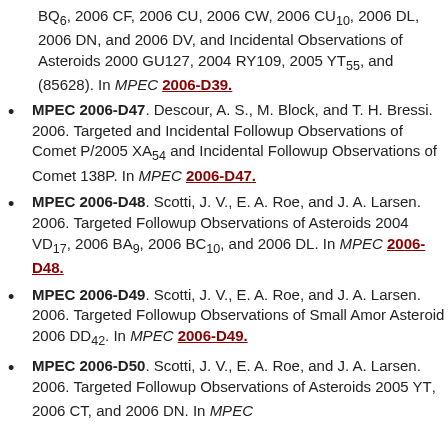BQ6, 2006 CF, 2006 CU, 2006 CW, 2006 CU10, 2006 DL, 2006 DN, and 2006 DV, and Incidental Observations of Asteroids 2000 GU127, 2004 RY109, 2005 YT55, and (85628). In MPEC 2006-D39.
MPEC 2006-D47. Descour, A. S., M. Block, and T. H. Bressi. 2006. Targeted and Incidental Followup Observations of Comet P/2005 XA54 and Incidental Followup Observations of Comet 138P. In MPEC 2006-D47.
MPEC 2006-D48. Scotti, J. V., E. A. Roe, and J. A. Larsen. 2006. Targeted Followup Observations of Asteroids 2004 VD17, 2006 BA9, 2006 BC10, and 2006 DL. In MPEC 2006-D48.
MPEC 2006-D49. Scotti, J. V., E. A. Roe, and J. A. Larsen. 2006. Targeted Followup Observations of Small Amor Asteroid 2006 DD42. In MPEC 2006-D49.
MPEC 2006-D50. Scotti, J. V., E. A. Roe, and J. A. Larsen. 2006. Targeted Followup Observations of Asteroids 2005 YT, 2006 CT, and 2006 DN. In MPEC